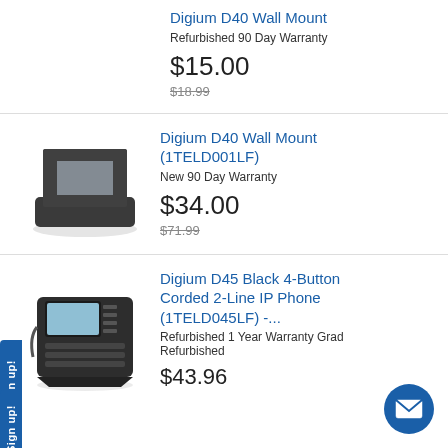Digium D40 Wall Mount
Refurbished 90 Day Warranty
$15.00
$18.99
[Figure (photo): Digium D40 Wall Mount bracket, black plastic]
Digium D40 Wall Mount (1TELD001LF)
New 90 Day Warranty
$34.00
$71.99
[Figure (photo): Digium D45 Black 4-Button Corded 2-Line IP Phone]
Digium D45 Black 4-Button Corded 2-Line IP Phone (1TELD045LF) -...
Refurbished 1 Year Warranty Grade Refurbished
$43.96